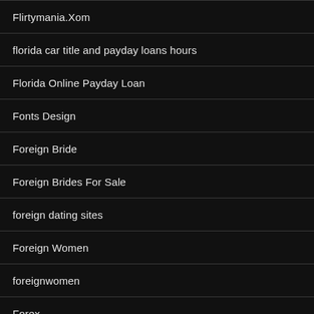Flirtymania.Xom
florida car title and payday loans hours
Florida Online Payday Loan
Fonts Design
Foreign Bride
Foreign Brides For Sale
foreign dating sites
Foreign Women
foreignwomen
Forex
forex broker
Forex Handel